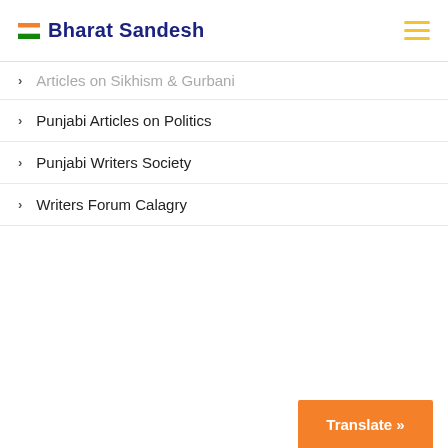Bharat Sandesh
Articles on Sikhism & Gurbani
Punjabi Articles on Politics
Punjabi Writers Society
Writers Forum Calagry